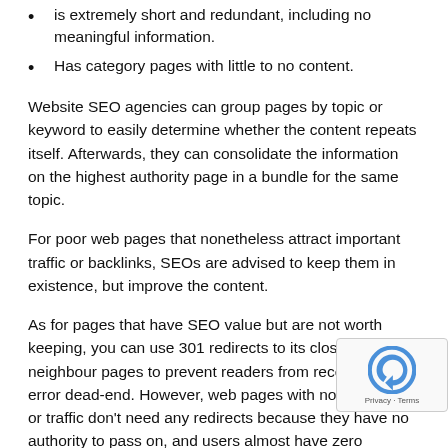is extremely short and redundant, including no meaningful information.
Has category pages with little to no content.
Website SEO agencies can group pages by topic or keyword to easily determine whether the content repeats itself. Afterwards, they can consolidate the information on the highest authority page in a bundle for the same topic.
For poor web pages that nonetheless attract important traffic or backlinks, SEOs are advised to keep them in existence, but improve the content.
As for pages that have SEO value but are not worth keeping, you can use 301 redirects to its closest topical neighbour pages to prevent readers from receiving a 404 error dead-end. However, web pages with no backlinks or traffic don't need any redirects because they have no authority to pass on, and users almost have zero chances of ending up on those pages.
Work With The Best Content